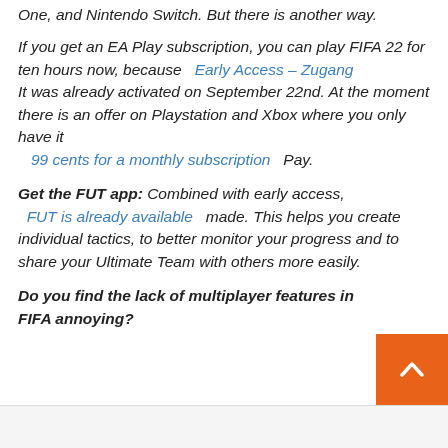One, and Nintendo Switch. But there is another way.
If you get an EA Play subscription, you can play FIFA 22 for ten hours now, because Early Access – Zugang It was already activated on September 22nd. At the moment there is an offer on Playstation and Xbox where you only have it 99 cents for a monthly subscription Pay.
Get the FUT app: Combined with early access, FUT is already available made. This helps you create individual tactics, to better monitor your progress and to share your Ultimate Team with others more easily.
Do you find the lack of multiplayer features in FIFA annoying?